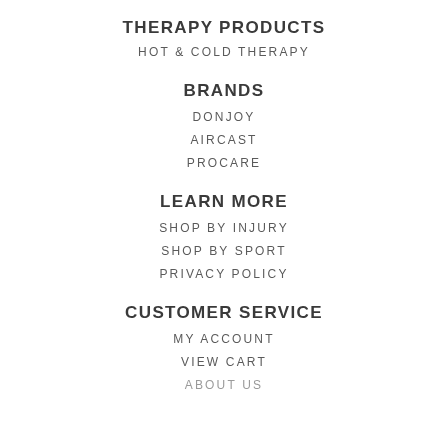THERAPY PRODUCTS
HOT & COLD THERAPY
BRANDS
DONJOY
AIRCAST
PROCARE
LEARN MORE
SHOP BY INJURY
SHOP BY SPORT
PRIVACY POLICY
CUSTOMER SERVICE
MY ACCOUNT
VIEW CART
ABOUT US